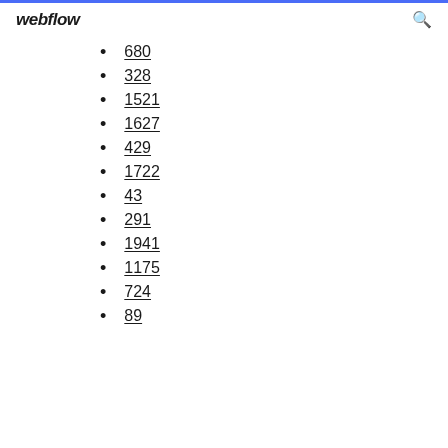webflow
680
328
1521
1627
429
1722
43
291
1941
1175
724
89